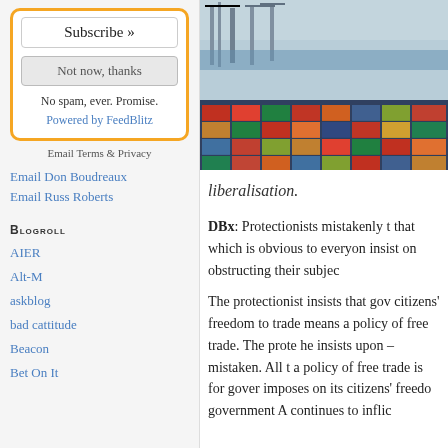Subscribe »
Not now, thanks
No spam, ever. Promise.
Powered by FeedBlitz
Email Terms & Privacy
Email Don Boudreaux
Email Russ Roberts
Blogroll
AIER
Alt-M
askblog
bad cattitude
Beacon
Bet On It
[Figure (photo): Aerial view of a busy shipping port with colorful stacked cargo containers and cranes]
liberalisation.
DBx: Protectionists mistakenly think that which is obvious to everyone insist on obstructing their subject
The protectionist insists that government citizens' freedom to trade means a policy of free trade. The protectionist he insists upon – mistaken. All that a policy of free trade is for government imposes on its citizens' freedom government A continues to inflict